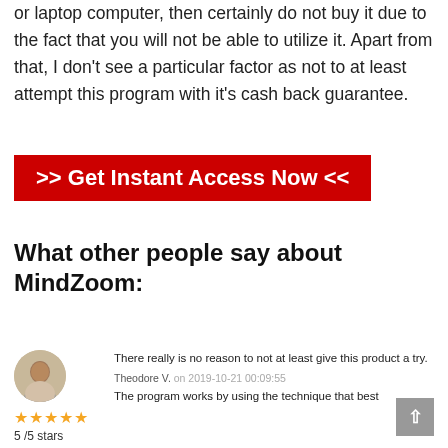or laptop computer, then certainly do not buy it due to the fact that you will not be able to utilize it. Apart from that, I don't see a particular factor as not to at least attempt this program with it's cash back guarantee.
[Figure (other): Red button with white bold text reading '>> Get Instant Access Now <<']
What other people say about MindZoom:
[Figure (photo): Round avatar photo of a man]
★★★★★
5 /5 stars
There really is no reason to not at least give this product a try.
Theodore V. on 2019-10-21 00:09:55
The program works by using the technique that best